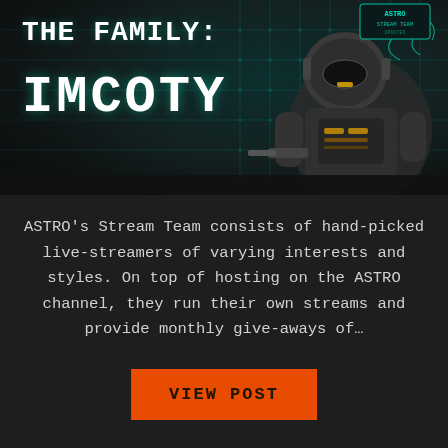[Figure (illustration): Dark gaming-themed banner with teal/cyan circuit board background and a robot/character illustration on the right side. Text overlay reads 'THE FAMILY:' and 'IMCOTY' in bold monospace white font.]
THE FAMILY:
IMCOTY
ASTRO's Stream Team consists of hand-picked live-streamers of varying interests and styles. On top of hosting on the ASTRO channel, they run their own streams and provide monthly give-aways of...
VIEW POST